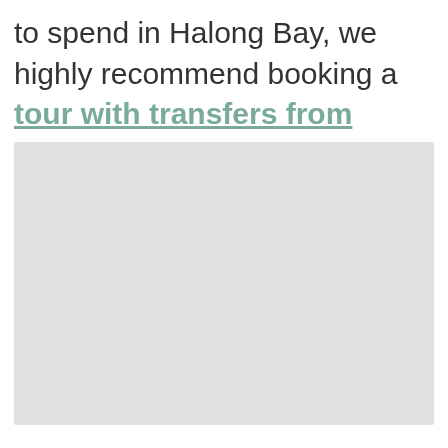to spend in Halong Bay, we highly recommend booking a tour with transfers from Hanoi included.
[Figure (photo): A light gray placeholder image block below the text paragraph.]